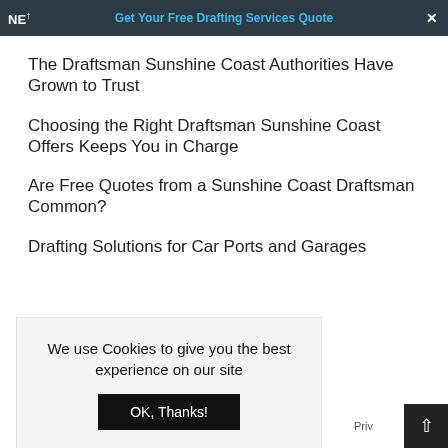NE… | Get Your Free Drafting Services Quote | ×
The Draftsman Sunshine Coast Authorities Have Grown to Trust
Choosing the Right Draftsman Sunshine Coast Offers Keeps You in Charge
Are Free Quotes from a Sunshine Coast Draftsman Common?
Drafting Solutions for Car Ports and Garages
We use Cookies to give you the best experience on our site
OK, Thanks!